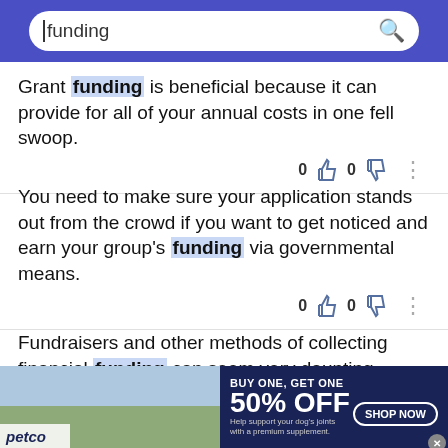funding [search bar]
Grant funding is beneficial because it can provide for all of your annual costs in one fell swoop.
You need to make sure your application stands out from the crowd if you want to get noticed and earn your group's funding via governmental means.
Fundraisers and other methods of collecting financial funding can seem very daunting, especially if you've been commissioned to help
[Figure (screenshot): Petco advertisement banner: BUY ONE, GET ONE 50% OFF. Help support your dog's joints with a premium supplement. SHOP NOW button. Shows woman with dog and supplement product.]